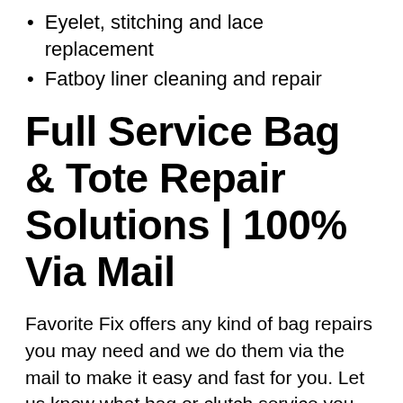Eyelet, stitching and lace replacement
Fatboy liner cleaning and repair
Full Service Bag & Tote Repair Solutions | 100% Via Mail
Favorite Fix offers any kind of bag repairs you may need and we do them via the mail to make it easy and fast for you. Let us know what bag or clutch service you need via our contact form and we'll send you an estimate via email. If the repair price is right, we'll coordinate your shipping and get it to our